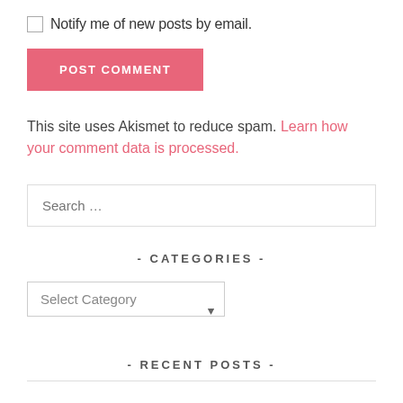Notify me of new posts by email.
POST COMMENT
This site uses Akismet to reduce spam. Learn how your comment data is processed.
Search …
- CATEGORIES -
Select Category
- RECENT POSTS -